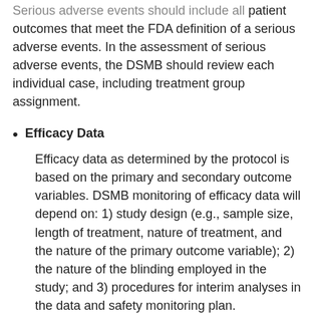Serious adverse events should include all patient outcomes that meet the FDA definition of a serious adverse events. In the assessment of serious adverse events, the DSMB should review each individual case, including treatment group assignment.
Efficacy Data
Efficacy data as determined by the protocol is based on the primary and secondary outcome variables. DSMB monitoring of efficacy data will depend on: 1) study design (e.g., sample size, length of treatment, nature of treatment, and the nature of the primary outcome variable); 2) the nature of the blinding employed in the study; and 3) procedures for interim analyses in the data and safety monitoring plan.
Interim analyses for stopping rules